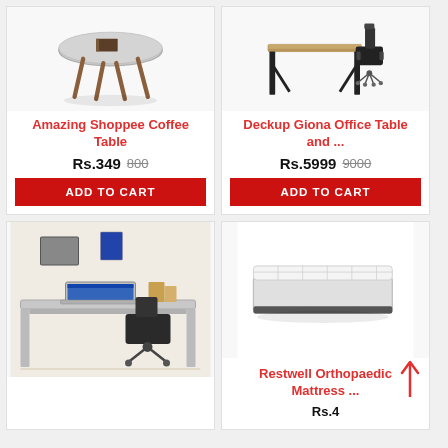[Figure (photo): Round coffee table with wooden legs and grey top]
Amazing Shoppee Coffee Table
Rs.349  800
ADD TO CART
[Figure (photo): Office table with chair, desk setup]
Deckup Giona Office Table and ...
Rs.5999  9000
ADD TO CART
[Figure (photo): White/grey desk with laptop and office chair]
[Figure (photo): Orthopaedic mattress]
Restwell Orthopaedic Mattress ...